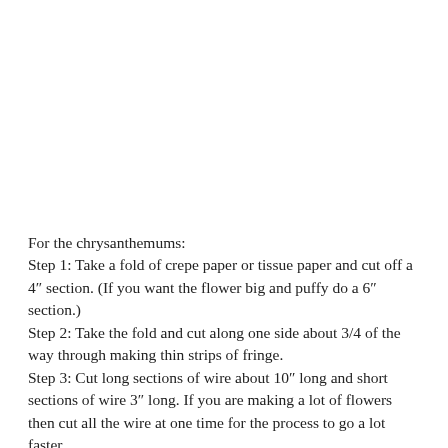For the chrysanthemums:
Step 1: Take a fold of crepe paper or tissue paper and cut off a 4″ section. (If you want the flower big and puffy do a 6″ section.)
Step 2: Take the fold and cut along one side about 3/4 of the way through making thin strips of fringe.
Step 3: Cut long sections of wire about 10″ long and short sections of wire 3″ long. If you are making a lot of flowers then cut all the wire at one time for the process to go a lot faster.
Step 4: Fold the long piece of wire in half. Begin wrapping the petals around the center and pinching it tight around the base.
Step 5: Continue wrapping it around until you are happy with the fullness.